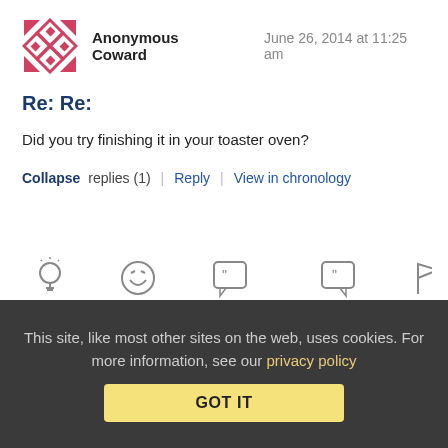Anonymous Coward   June 26, 2014 at 11:25 am
Re: Re:
Did you try finishing it in your toaster oven?
Collapse replies (1) | Reply | View in chronology
[Figure (infographic): Row of five action icons: lightbulb (funny), laughing face (lol), speech bubble with open-quote (quote), speech bubble with close-quote (quote), flag (report)]
[3] replies indicator with chat icon
This site, like most other sites on the web, uses cookies. For more information, see our privacy policy
GOT IT